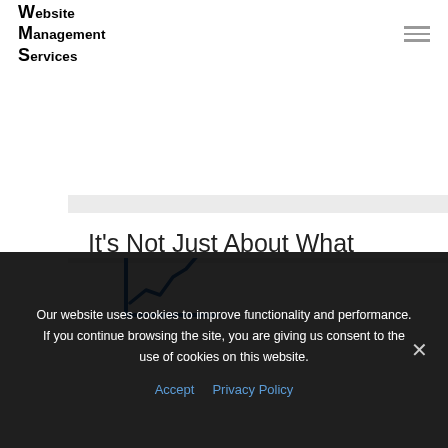Website Management Services
[Figure (illustration): Blue upward trending line chart icon with arrow on gray background]
It’s Not Just About What
Our website uses cookies to improve functionality and performance. If you continue browsing the site, you are giving us consent to the use of cookies on this website.
Accept   Privacy Policy